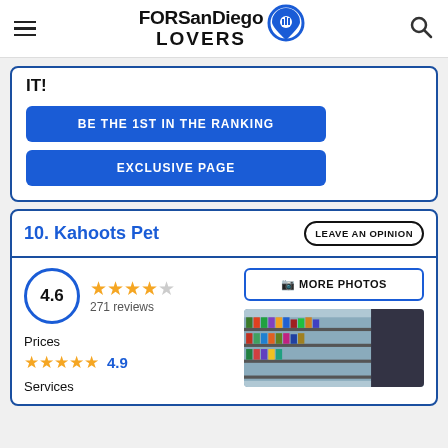FORSanDiego LOVERS
IT!
BE THE 1ST IN THE RANKING
EXCLUSIVE PAGE
10. Kahoots Pet
LEAVE AN OPINION
4.6
271 reviews
MORE PHOTOS
Prices
4.9
Services